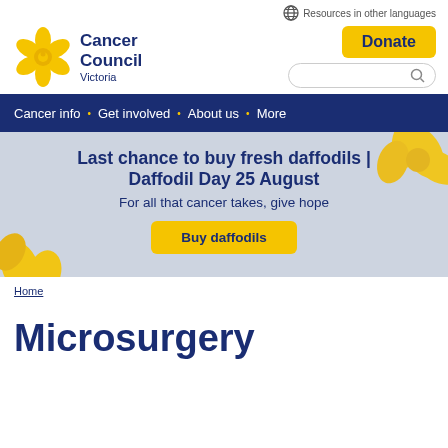[Figure (screenshot): Globe/language icon followed by 'Resources in other languages' text link in top right corner]
[Figure (logo): Cancer Council Victoria logo: yellow daffodil flower icon with 'Cancer Council Victoria' text in dark navy blue]
[Figure (other): Yellow 'Donate' button and search bar in top right header area]
Cancer info · Get involved · About us · More
[Figure (infographic): Hero banner with light blue-grey background and yellow daffodil images. Text: 'Last chance to buy fresh daffodils | Daffodil Day 25 August' and 'For all that cancer takes, give hope' with yellow 'Buy daffodils' button]
Home
Microsurgery